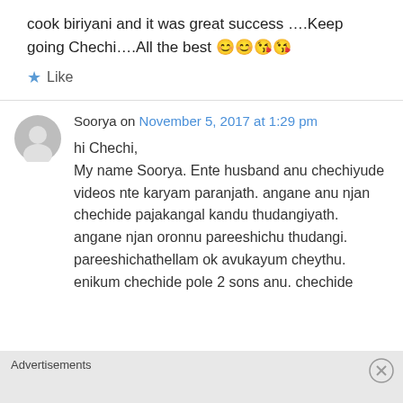cook biriyani and it was great success ….Keep going Chechi….All the best 😊😊😘😘
★ Like
Soorya on November 5, 2017 at 1:29 pm
hi Chechi,
My name Soorya. Ente husband anu chechiyude videos nte karyam paranjath. angane anu njan chechide pajakangal kandu thudangiyath. angane njan oronnu pareeshichu thudangi. pareeshichathellam ok avukayum cheythu. enikum chechide pole 2 sons anu. chechide
Advertisements